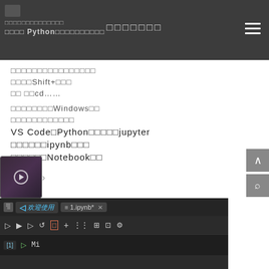□□□□□□□□□□□□□□  □□□□□□□  □□□ Python□□□□□□□□□□
□□□□□□□□□□□□□□□□
□□□□Shift+□□□
□□ □□cd……
□□□□□□□□Windows□□
□□□□□□□□□□□□
VS Code□Python□□□□□jupyter
□□□□□□ipynb□□□
□□□□□□Notebook□□
[Figure (screenshot): VS Code screenshot showing a tab bar with '欢迎使用' and '1.ipynb*' tabs, a toolbar with notebook controls, and a code cell with [1] indicator]